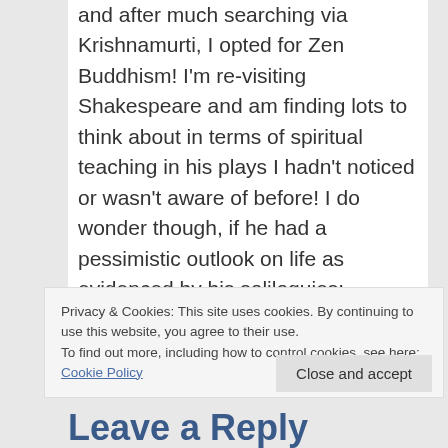and after much searching via Krishnamurti, I opted for Zen Buddhism! I'm re-visiting Shakespeare and am finding lots to think about in terms of spiritual teaching in his plays I hadn't noticed or wasn't aware of before! I do wonder though, if he had a pessimistic outlook on life as evidenced by his soliloquies: tomorrow and tomorrow and tomorrow creeps in this petty pace from day to day?!
Privacy & Cookies: This site uses cookies. By continuing to use this website, you agree to their use.
To find out more, including how to control cookies, see here: Cookie Policy
Close and accept
Leave a Reply